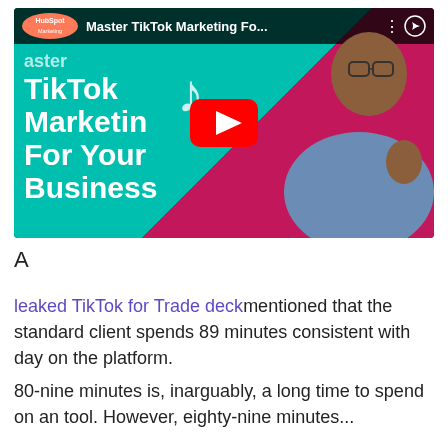[Figure (screenshot): YouTube video thumbnail for HubSpot Marketing video titled 'Master TikTok Marketing Fo...' showing a man gesturing on a teal/pink background with bold white text reading 'Master TikTok Marketing For Your Business' and a YouTube play button overlay.]
A
leaked TikTok for Trade deck mentioned that the standard client spends 89 minutes consistent with day on the platform.
80-nine minutes is, inarguably, a long time to spend on an tool. However, eighty-nine minutes...